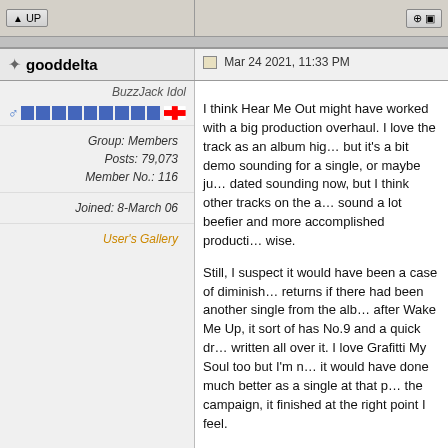[Figure (screenshot): Forum toolbar row with UP button on left and action buttons on right]
gooddelta
Mar 24 2021, 11:33 PM
BuzzJack Idol
Group: Members
Posts: 79,073
Member No.: 116
Joined: 8-March 06
User's Gallery
I think Hear Me Out might have worked with a big production overhaul. I love the track as an album highlight but it's a bit demo sounding for a single, or maybe just dated sounding now, but I think other tracks on the album sound a lot beefier and more accomplished production wise.

Still, I suspect it would have been a case of diminishing returns if there had been another single from the album after Wake Me Up, it sort of has No.9 and a quick drop written all over it. I love Grafitti My Soul too but I'm not sure it would have done much better as a single at that point of the campaign, it finished at the right point I feel.

I've nul voted though, as in their current form I'm not sure either would have been worth putting out as a single.
This post has been edited by gooddelta: Mar 24 2021, 11:34 PM